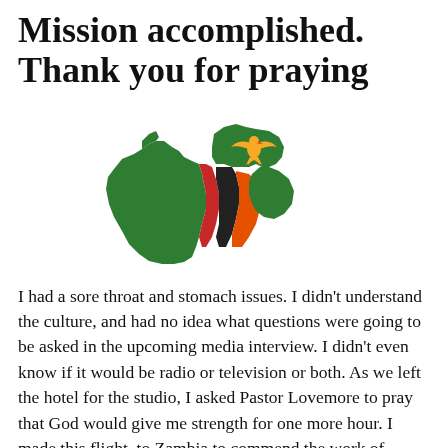Mission accomplished. Thank you for praying
[Figure (map): Map of Zambia shaped as the country outline, filled with the Zambian flag colors: green, black, red, orange, with a golden eagle emblem in the upper right area.]
I had a sore throat and stomach issues. I didn't understand the culture, and had no idea what questions were going to be asked in the upcoming media interview. I didn't even know if it would be radio or television or both. As we left the hotel for the studio, I asked Pastor Lovemore to pray that God would give me strength for one more hour. I made this flight to Zambia to commend the work of